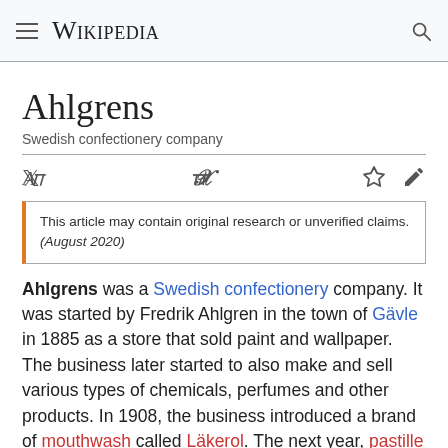Wikipedia
Ahlgrens
Swedish confectionery company
This article may contain original research or unverified claims. (August 2020)
Ahlgrens was a Swedish confectionery company. It was started by Fredrik Ahlgren in the town of Gävle in 1885 as a store that sold paint and wallpaper. The business later started to also make and sell various types of chemicals, perfumes and other products. In 1908, the business introduced a brand of mouthwash called Läkerol. The next year, pastille started to be sold under the same brand, and is still sold in multiple countries in several variants.